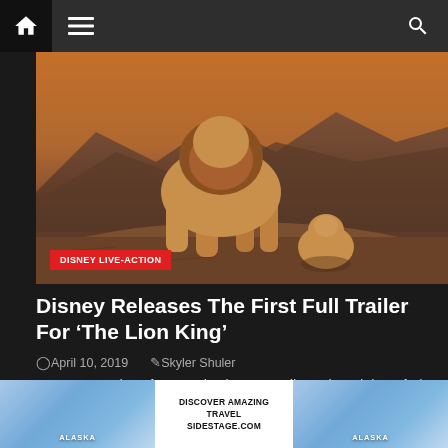Navigation bar with home, menu, and search icons
[Figure (photo): Movie still from The Lion King live-action remake showing a lion with a cub on rocky terrain with mountains in background and warm golden lighting]
DISNEY LIVE-ACTION
Disney Releases The First Full Trailer For ‘The Lion King’
April 10, 2019   Skyler Shuler
We are 100 days from Walt Disney Studios reimagining of The Lion King, and...
[Figure (screenshot): Partial colorful image strip showing animated characters including Sully from Monsters Inc and other Disney characters]
[Figure (photo): Alaska Airlines advertisement banner with icy/snowy background and text DISCOVER AMAZING TRAVEL SIDESTAGE.COM and ALASKA label on both sides]